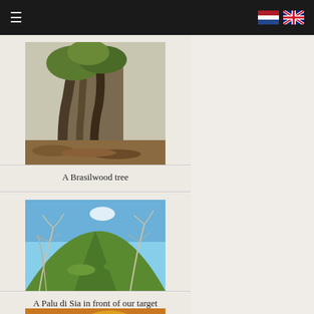Navigation header with hamburger menu and NL/UK flags
[Figure (photo): A Brasilwood tree — twisted trunk with greenery and leaf litter on the ground]
A Brasilwood tree
[Figure (photo): A Palu di Sia shrub in the foreground with a green volcanic hill and wisp of cloud/smoke behind]
A Palu di Sia in front of our target
[Figure (photo): Yellow-orange rocks or coral with lichen, partially visible at bottom of page]